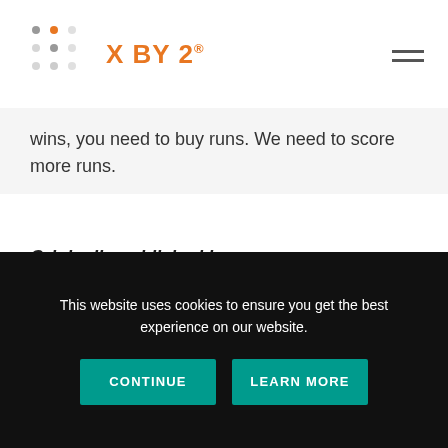X BY 2®
wins, you need to buy runs. We need to score more runs.
Originally published by Digital Insurance Read the original article here.
TAGS: # CONSULTING # JEFF SALLANS
This website uses cookies to ensure you get the best experience on our website.